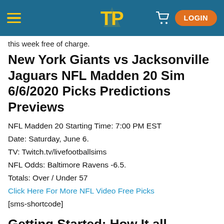Navigation bar with hamburger menu, TP logo, cart icon, and LOGIN button
this week free of charge.
New York Giants vs Jacksonville Jaguars NFL Madden 20 Sim 6/6/2020 Picks Predictions Previews
NFL Madden 20 Starting Time: 7:00 PM EST
Date: Saturday, June 6.
TV: Twitch.tv/livefootballsims
NFL Odds: Baltimore Ravens -6.5.
Totals: Over / Under 57
Click Here For More NFL Video Free Picks
[sms-shortcode]
Getting Started: How It all...